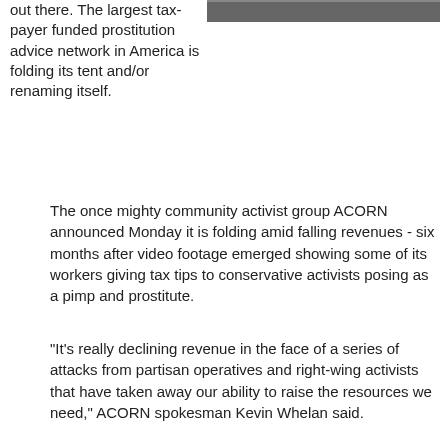out there. The largest tax-payer funded prostitution advice network in America is folding its tent and/or renaming itself.
[Figure (photo): A photo image partially visible at the top right of the page]
The once mighty community activist group ACORN announced Monday it is folding amid falling revenues - six months after video footage emerged showing some of its workers giving tax tips to conservative activists posing as a pimp and prostitute.
"It's really declining revenue in the face of a series of attacks from partisan operatives and right-wing activists that have taken away our ability to raise the resources we need," ACORN spokesman Kevin Whelan said.
Several of its largest affiliates, including ACORN New York and ACORN California, broke away this year and changed their names in a bid to ditch the tarnished image of their parent